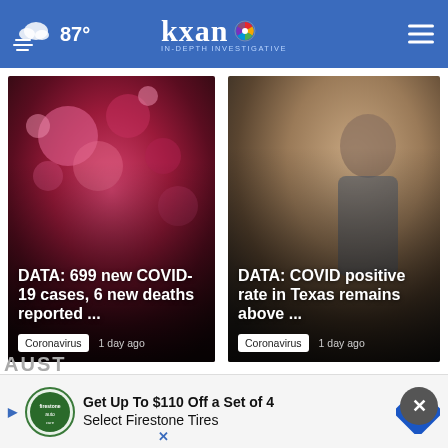87° KXAN IN-DEPTH INVESTIGATIVE
[Figure (photo): News card: Pink/red COVID-19 cells microscope image with overlaid text 'DATA: 699 new COVID-19 cases, 6 new deaths reported ...' tagged Coronavirus, 1 day ago]
[Figure (photo): News card: Person indoors with overlaid text 'DATA: COVID positive rate in Texas remains above ...' tagged Coronavirus, 1 day ago]
Coronavirus Cases Tracker ›
[Figure (infographic): Advertisement: Get Up To $110 Off a Set of 4 Select Firestone Tires with Firestone auto logo]
AUST